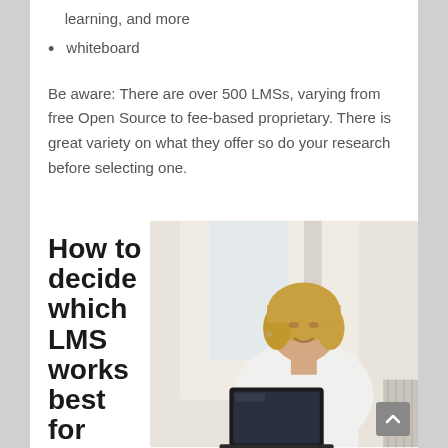learning, and more
whiteboard
Be aware: There are over 500 LMSs, varying from free Open Source to fee-based proprietary. There is great variety on what they offer so do your research before selecting one.
How to decide which LMS works best for you
[Figure (photo): A smiling blonde woman in a white shirt working on a laptop, sitting in a bright office or home environment.]